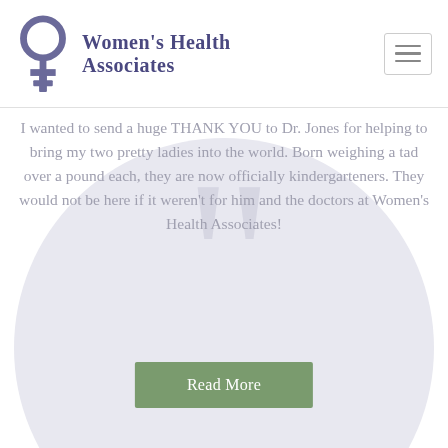[Figure (logo): Women's Health Associates logo with female/Venus symbol in purple/grey and text in dark purple]
I wanted to send a huge THANK YOU to Dr. Jones for helping to bring my two pretty ladies into the world. Born weighing a tad over a pound each, they are now officially kindergarteners. They would not be here if it weren't for him and the doctors at Women's Health Associates!
Read More